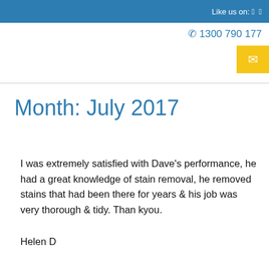Like us on: 🅵 🅸
☎ 1300 790 177
Month: July 2017
I was extremely satisfied with Dave's performance, he had a great knowledge of stain removal, he removed stains that had been there for years & his job was very thorough & tidy. Than kyou.
Helen D